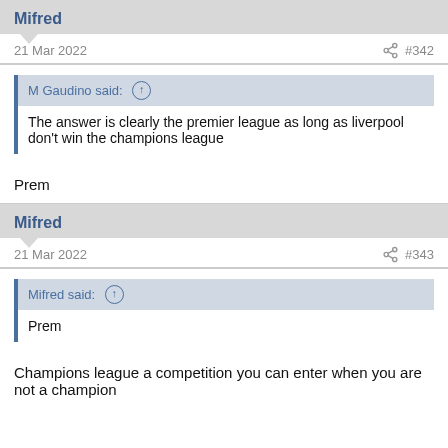Mifred
21 Mar 2022   #342
M Gaudino said: ↑
The answer is clearly the premier league as long as liverpool don't win the champions league
Prem
Mifred
21 Mar 2022   #343
Mifred said: ↑
Prem
Champions league a competition you can enter when you are not a champion